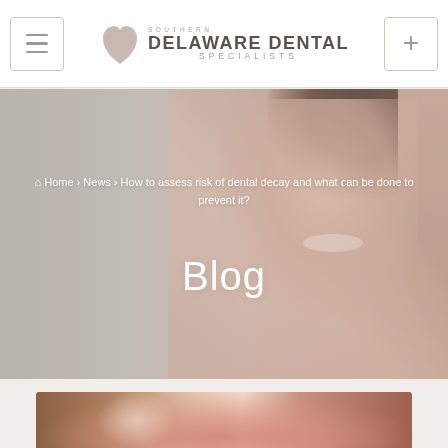[Figure (logo): Southern Delaware Dental Specialists logo with heart/tooth icon]
[Figure (photo): Hero banner with smiling woman and breadcrumb navigation overlay showing Home > News > How to assess risk of dental decay and what can be done to prevent it? and Blog title]
Home > News > How to assess risk of dental decay and what can be done to prevent it?
Blog
[Figure (photo): Close-up blurred photo of a person's mouth/dental area at the bottom of the page]